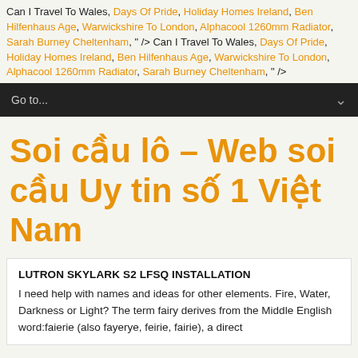Can I Travel To Wales, Days Of Pride, Holiday Homes Ireland, Ben Hilfenhaus Age, Warwickshire To London, Alphacool 1260mm Radiator, Sarah Burney Cheltenham, " /> Can I Travel To Wales, Days Of Pride, Holiday Homes Ireland, Ben Hilfenhaus Age, Warwickshire To London, Alphacool 1260mm Radiator, Sarah Burney Cheltenham, " />
Go to...
Soi cầu lô – Web soi cầu Uy tin số 1 Việt Nam
LUTRON SKYLARK S2 LFSQ INSTALLATION
I need help with names and ideas for other elements. Fire, Water, Darkness or Light? The term fairy derives from the Middle English word:faierie (also fayerye, feirie, fairie), a direct